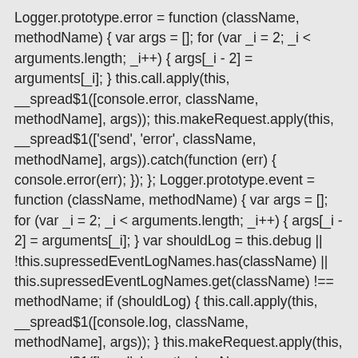Logger.prototype.error = function (className, methodName) { var args = []; for (var _i = 2; _i < arguments.length; _i++) { args[_i - 2] = arguments[_i]; } this.call.apply(this, __spread$1([console.error, className, methodName], args)); this.makeRequest.apply(this, __spread$1(['send', 'error', className, methodName], args)).catch(function (err) { console.error(err); }); }; Logger.prototype.event = function (className, methodName) { var args = []; for (var _i = 2; _i < arguments.length; _i++) { args[_i - 2] = arguments[_i]; } var shouldLog = this.debug || !this.supressedEventLogNames.has(className) || this.supressedEventLogNames.get(className) !== methodName; if (shouldLog) { this.call.apply(this, __spread$1([console.log, className, methodName], args)); } this.makeRequest.apply(this, __spread$1(['send', 'event', className, methodName],